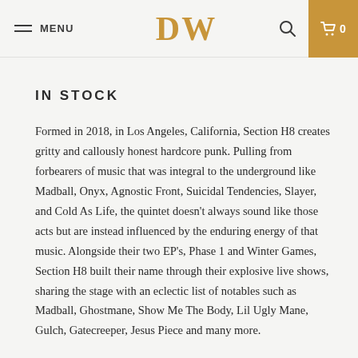MENU | DW logo | search | cart 0
IN STOCK
Formed in 2018, in Los Angeles, California, Section H8 creates gritty and callously honest hardcore punk. Pulling from forbearers of music that was integral to the underground like Madball, Onyx, Agnostic Front, Suicidal Tendencies, Slayer, and Cold As Life, the quintet doesn't always sound like those acts but are instead influenced by the enduring energy of that music. Alongside their two EP's, Phase 1 and Winter Games, Section H8 built their name through their explosive live shows, sharing the stage with an eclectic list of notables such as Madball, Ghostmane, Show Me The Body, Lil Ugly Mane, Gulch, Gatecreeper, Jesus Piece and many more.